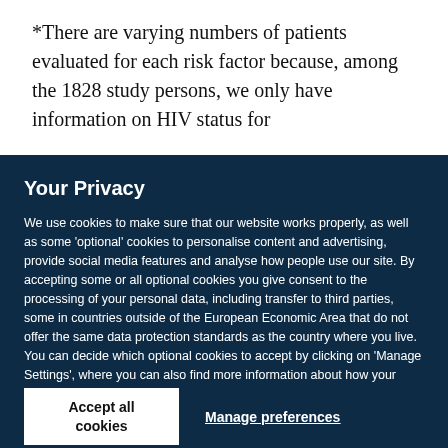*There are varying numbers of patients evaluated for each risk factor because, among the 1828 study persons, we only have information on HIV status for
Your Privacy
We use cookies to make sure that our website works properly, as well as some 'optional' cookies to personalise content and advertising, provide social media features and analyse how people use our site. By accepting some or all optional cookies you give consent to the processing of your personal data, including transfer to third parties, some in countries outside of the European Economic Area that do not offer the same data protection standards as the country where you live. You can decide which optional cookies to accept by clicking on 'Manage Settings', where you can also find more information about how your personal data is processed. Further information can be found in our privacy policy.
Accept all cookies
Manage preferences